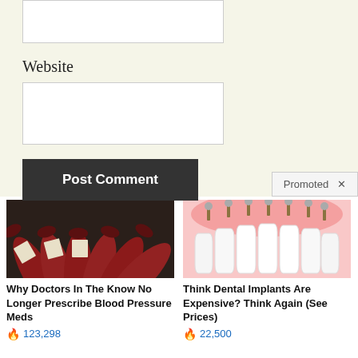Website
[Figure (screenshot): White input box for website URL field]
Post Comment
Promoted X
[Figure (photo): Row of brown pill/medicine bottles arranged in a fan shape on a dark surface]
Why Doctors In The Know No Longer Prescribe Blood Pressure Meds
123,298
[Figure (illustration): Dental implant illustration showing pink gum tissue with white teeth and metal implant screws inserted into the gum]
Think Dental Implants Are Expensive? Think Again (See Prices)
22,500